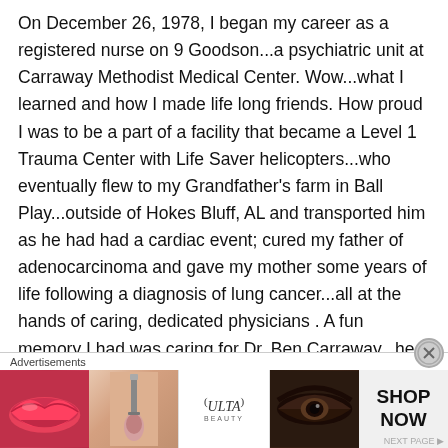On December 26, 1978, I began my career as a registered nurse on 9 Goodson...a psychiatric unit at Carraway Methodist Medical Center. Wow...what I learned and how I made life long friends. How proud I was to be a part of a facility that became a Level 1 Trauma Center with Life Saver helicopters...who eventually flew to my Grandfather's farm in Ball Play...outside of Hokes Bluff, AL and transported him as he had had a cardiac event; cured my father of adenocarcinoma and gave my mother some years of life following a diagnosis of lung cancer...all at the hands of caring, dedicated physicians . A fun memory I had was caring for Dr. Ben Carraway...he was my patient at the time on my medical unit, BUT...I had to delay my care because he put on a lab coat, left my unit and made rounds on HIS patients! It
[Figure (screenshot): Advertisements banner with Ulta Beauty ad showing lips, makeup brush, eyes, ULTA logo, and SHOP NOW text]